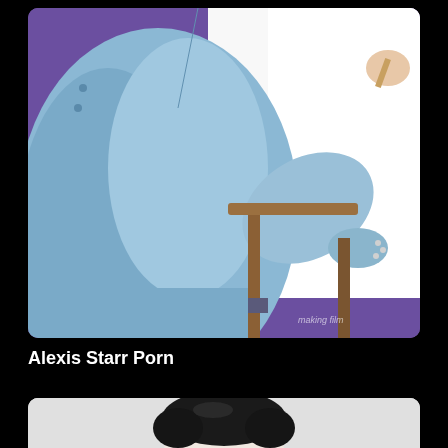[Figure (photo): Person wearing a light blue blazer/suit jacket seen from behind, sitting on a wooden stool, writing or drawing on a white canvas/board. Purple background behind the canvas. A watermark 'making film' is visible in the lower right of the image.]
Alexis Starr Porn
[Figure (photo): Partial view of a person with dark hair, bottom portion of image cropped, light gray/white background.]